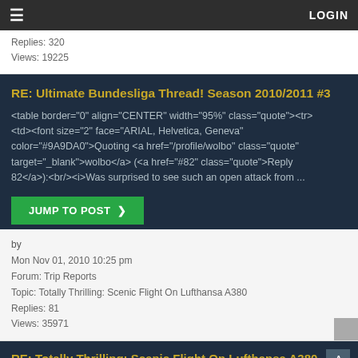LOGIN
Replies: 320
Views: 19225
RE: Ultimate Bundesliga Thread! Season 2010/2011 #3
<table border="0" align="CENTER" width="95%" class="quote"><tr><td><font size="2" face="ARIAL, Helvetica, Geneva" color="#9A9DA0">Quoting <a href="/profile/wolbo" class="quote" target="_blank">wolbo</a> (<a href="#82" class="quote">Reply 82</a>):<br/><i>Was surprised to see such an open attack from ...
JUMP TO POST >
by
Mon Nov 01, 2010 10:25 pm
Forum: Trip Reports
Topic: Totally Thrilling: Scenic Flight On Lufthansa A380
Replies: 81
Views: 35971
RE: Totally Thrilling: Scenic Flight On Lufthansa A380
<table border="0" align="CENTER" width="95%" class="quote"><tr><td><font size="2" face="ARIAL, Helvetica, Geneva" color="#9A9DA0">Quoting <a href="/profile/PlaneHunter" class="quote"